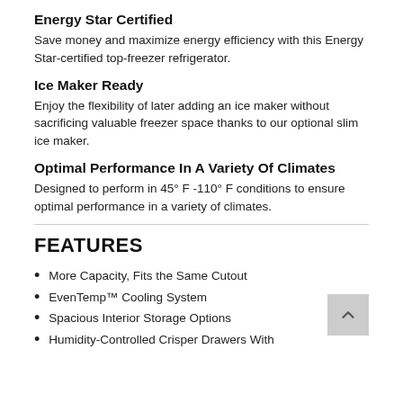Energy Star Certified
Save money and maximize energy efficiency with this Energy Star-certified top-freezer refrigerator.
Ice Maker Ready
Enjoy the flexibility of later adding an ice maker without sacrificing valuable freezer space thanks to our optional slim ice maker.
Optimal Performance In A Variety Of Climates
Designed to perform in 45° F -110° F conditions to ensure optimal performance in a variety of climates.
FEATURES
More Capacity, Fits the Same Cutout
EvenTemp™ Cooling System
Spacious Interior Storage Options
Humidity-Controlled Crisper Drawers With...